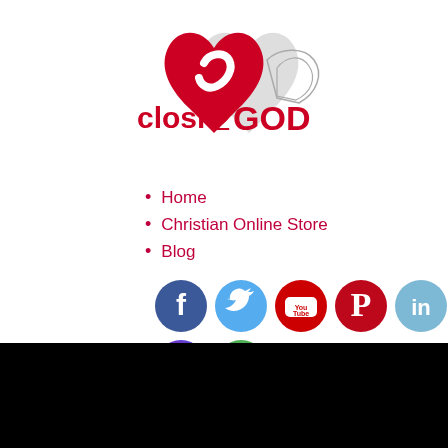[Figure (logo): closr2GOD logo with red heart and angel wing, text reads closr2GOD in red]
Home
Christian Online Store
Blog
[Figure (infographic): Social media icons: Facebook, Twitter, YouTube, Pinterest, LinkedIn in first row; Instagram, WhatsApp in second row]